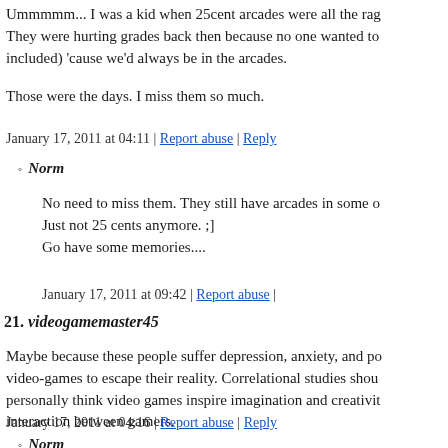Ummmmm... I was a kid when 25cent arcades were all the rag... They were hurting grades back then because no one wanted to... included) 'cause we'd always be in the arcades.
Those were the days. I miss them so much.
January 17, 2011 at 04:11 | Report abuse | Reply
Norm
No need to miss them. They still have arcades in some o... Just not 25 cents anymore. ;]
Go have some memories....
January 17, 2011 at 09:42 | Report abuse |
21. videogamemaster45
Maybe because these people suffer depression, anxiety, and po... video-games to escape their reality. Correlational studies shou... personally think video games inspire imagination and creativit... interaction between gamers.
January 17, 2011 at 04:16 | Report abuse | Reply
Norm
It's hand an eye coordination and split second decisiion n... the "positive" effects of gaming?